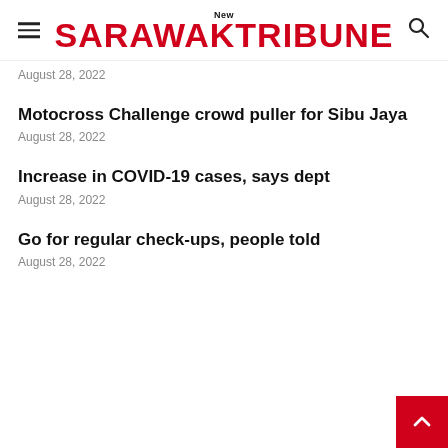New Sarawak Tribune
August 28, 2022
Motocross Challenge crowd puller for Sibu Jaya
August 28, 2022
Increase in COVID-19 cases, says dept
August 28, 2022
Go for regular check-ups, people told
August 28, 2022